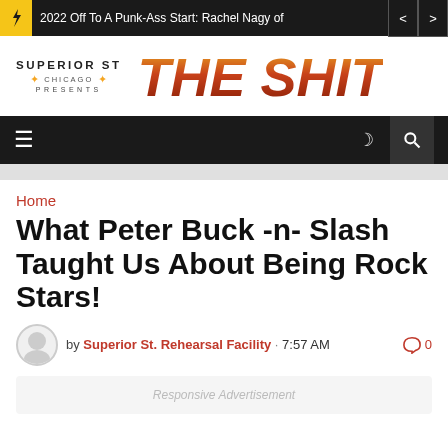2022 Off To A Punk-Ass Start: Rachel Nagy of
[Figure (logo): Superior St Chicago Presents - The Shit logo]
[Figure (screenshot): Navigation bar with hamburger menu, moon icon, and search icon]
Home
What Peter Buck -n- Slash Taught Us About Being Rock Stars!
by Superior St. Rehearsal Facility · 7:57 AM  0
Responsive Advertisement